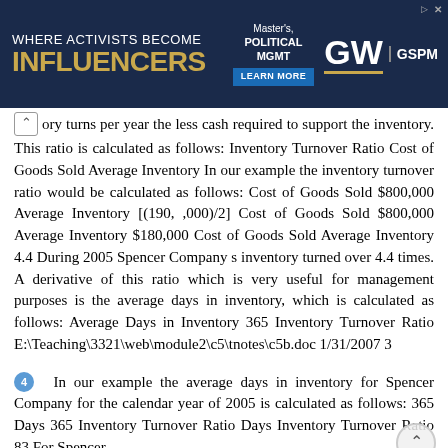[Figure (illustration): Advertisement banner for George Washington University Master's in Political Management (GSPM). Dark navy background with text 'WHERE ACTIVISTS BECOME INFLUENCERS' and 'Master's, POLITICAL MGMT' with GW and GSPM logos and a 'LEARN MORE' button.]
ory turns per year the less cash required to support the inventory. This ratio is calculated as follows: Inventory Turnover Ratio Cost of Goods Sold Average Inventory In our example the inventory turnover ratio would be calculated as follows: Cost of Goods Sold $800,000 Average Inventory [(190, ,000)/2] Cost of Goods Sold $800,000 Average Inventory $180,000 Cost of Goods Sold Average Inventory 4.4 During 2005 Spencer Company s inventory turned over 4.4 times. A derivative of this ratio which is very useful for management purposes is the average days in inventory, which is calculated as follows: Average Days in Inventory 365 Inventory Turnover Ratio E:\Teaching\3321\web\module2\c5\tnotes\c5b.doc 1/31/2007 3
4  In our example the average days in inventory for Spencer Company for the calendar year of 2005 is calculated as follows: 365 Days 365 Inventory Turnover Ratio Days Inventory Turnover Ratio 83 For Spencer